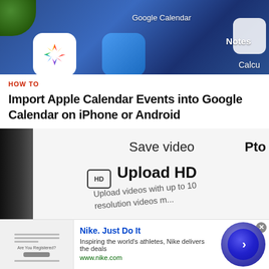[Figure (photo): Close-up of smartphone screen showing iOS app icons including Google Calendar, Notes, Photos, and Calculator on a blue background]
HOW TO
Import Apple Calendar Events into Google Calendar on iPhone or Android
[Figure (photo): Close-up of smartphone screen showing 'Save video' menu with 'Upload HD' option and description 'Upload videos with up to 10... resolution videos m...' and a 'Pro' label]
[Figure (photo): Advertisement banner for Nike. Just Do It — 'Inspiring the world's athletes, Nike delivers the deals. www.nike.com' with a circular button graphic and close button]